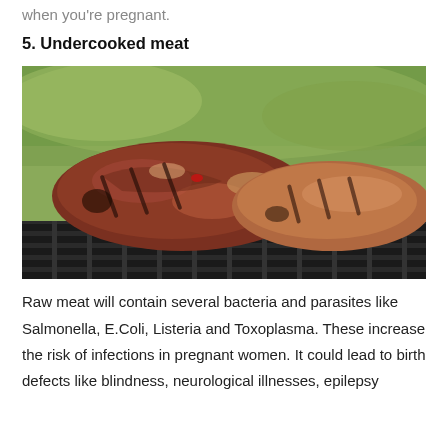when you're pregnant.
5. Undercooked meat
[Figure (photo): Photo of raw/undercooked meat steaks on a grill grate, with a blurred green background. The meat appears partially cooked with grill marks, showing a reddish-pink interior.]
Raw meat will contain several bacteria and parasites like Salmonella, E.Coli, Listeria and Toxoplasma. These increase the risk of infections in pregnant women. It could lead to birth defects like blindness, neurological illnesses, epilepsy